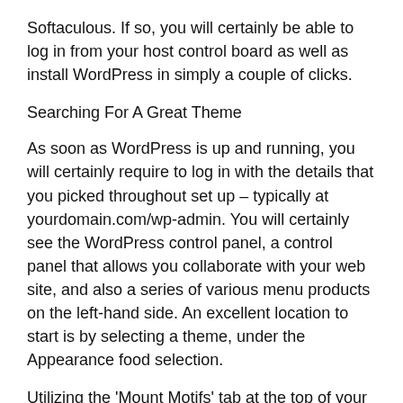Softaculous. If so, you will certainly be able to log in from your host control board as well as install WordPress in simply a couple of clicks.
Searching For A Great Theme
As soon as WordPress is up and running, you will certainly require to log in with the details that you picked throughout set up – typically at yourdomain.com/wp-admin. You will certainly see the WordPress control panel, a control panel that allows you collaborate with your web site, and also a series of various menu products on the left-hand side. An excellent location to start is by selecting a theme, under the Appearance food selection.
Utilizing the 'Mount Motifs' tab at the top of your display, you can explore a comprehensive database of designs and layouts for your web site. From conventional service formats to distinctive and also uncommon appearances, there are currently 1,607